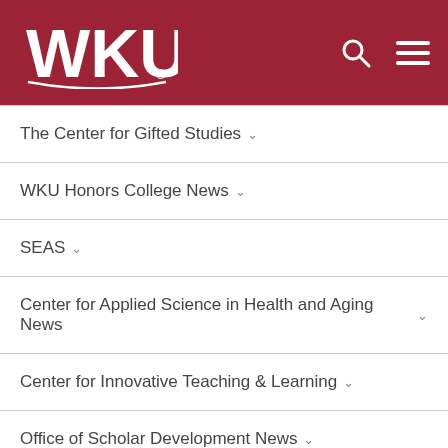[Figure (logo): WKU logo in white on dark red header background with search and hamburger menu icons]
The Center for Gifted Studies
WKU Honors College News
SEAS
Center for Applied Science in Health and Aging News
Center for Innovative Teaching & Learning
Office of Scholar Development News
Diversity, Equity, and Inclusion at WKU
Police
DELO News
Kentucky Museum News